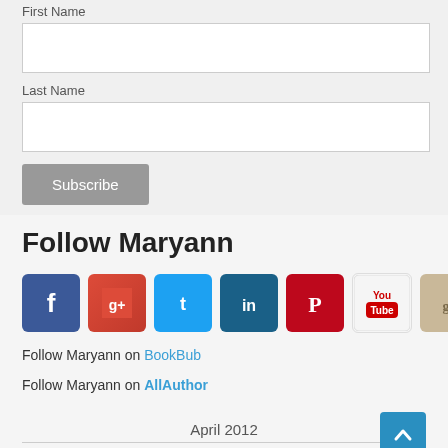First Name
Last Name
Subscribe
Follow Maryann
[Figure (infographic): Social media icons: Facebook, Google+, Twitter, LinkedIn, Pinterest, YouTube, Goodreads]
Follow Maryann on BookBub
Follow Maryann on AllAuthor
April 2012
| M | T | W | T | F | S | S |
| --- | --- | --- | --- | --- | --- | --- |